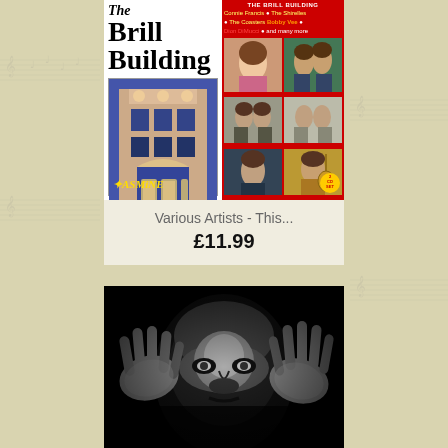[Figure (photo): Album cover for 'The Brill Building' compilation CD on Jasmine label, featuring artists: Connie Francis, The Shirelles, The Coasters, Bobby Vee, Dion DiMucci and many more. Red cover with building photo on left and artist photos on right. 2 CD Set badge visible.]
Various Artists - This...
£11.99
[Figure (photo): Black and white dramatic photo showing a face partially obscured by hands, high contrast noir style image.]